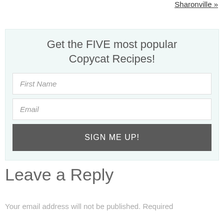Sharonville »
Get the FIVE most popular Copycat Recipes!
First Name
Email
SIGN ME UP!
Leave a Reply
Your email address will not be published. Required